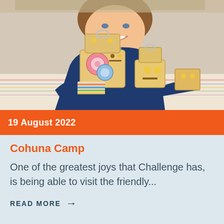[Figure (photo): A smiling child leaning over a table with wooden toy robots made of blocks, decorated with colorful gears and patterns]
19 August 2022
Cohuna Camp
One of the greatest joys that Challenge has, is being able to visit the friendly...
READ MORE →